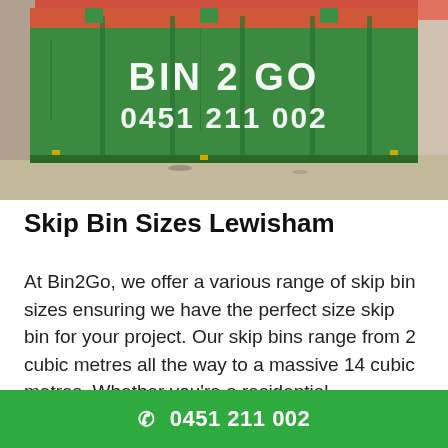[Figure (photo): A large green skip bin with 'BIN 2 GO 0451 211 002' written in white stencil text on the side, sitting on gravel/dirt ground outdoors.]
Skip Bin Sizes Lewisham
At Bin2Go, we offer a various range of skip bin sizes ensuring we have the perfect size skip bin for your project. Our skip bins range from 2 cubic metres all the way to a massive 14 cubic metres. Whether you're a residential, commercial or construction customer, we have the right skip bin size for your
0451 211 002